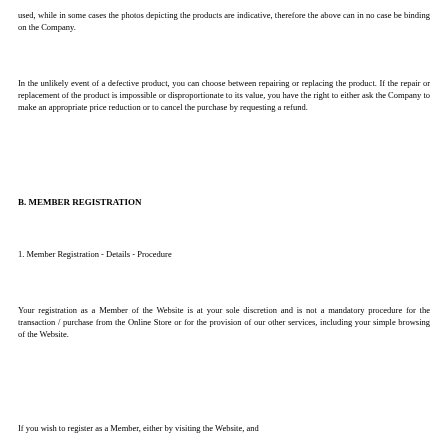used, while in some cases the photos depicting the products are indicative, therefore the above can in no case be binding on the Company.
In the unlikely event of a defective product, you can choose between repairing or replacing the product. If the repair or replacement of the product is impossible or disproportionate to its value, you have the right to either ask the Company to make an appropriate price reduction or to cancel the purchase by requesting a refund.
B. MEMBER REGISTRATION
1. Member Registration - Details - Procedure
Your registration as a Member of the Website is at your sole discretion and is not a mandatory procedure for the transaction / purchase from the Online Store or for the provision of our other services, including your simple browsing of the Website.
If you wish to register as a Member, either by visiting the Website, and